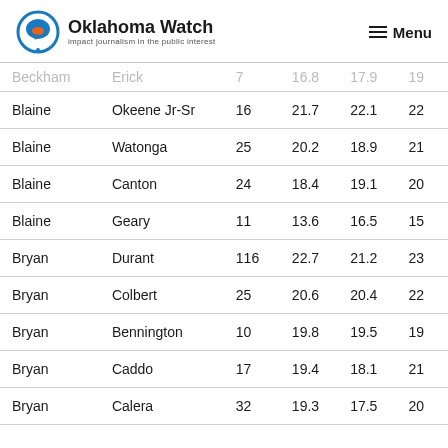Oklahoma Watch — Impact journalism in the public interest | Menu
| Beckham | Erick | 7 | 16.8 | 17.9 | 19 |
| Blaine | Okeene Jr-Sr | 16 | 21.7 | 22.1 | 22 |
| Blaine | Watonga | 25 | 20.2 | 18.9 | 21 |
| Blaine | Canton | 24 | 18.4 | 19.1 | 20 |
| Blaine | Geary | 11 | 13.6 | 16.5 | 15 |
| Bryan | Durant | 116 | 22.7 | 21.2 | 23 |
| Bryan | Colbert | 25 | 20.6 | 20.4 | 22 |
| Bryan | Bennington | 10 | 19.8 | 19.5 | 19 |
| Bryan | Caddo | 17 | 19.4 | 18.1 | 21 |
| Bryan | Calera | 32 | 19.3 | 17.5 | 20 |